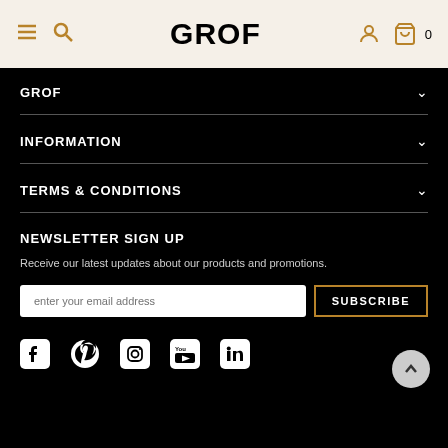GROF — navigation header with hamburger, search, logo, user, and cart icons
GROF
INFORMATION
TERMS & CONDITIONS
NEWSLETTER SIGN UP
Receive our latest updates about our products and promotions.
enter your email address
SUBSCRIBE
[Figure (infographic): Social media icons row: Facebook, Pinterest, Instagram, YouTube, LinkedIn — white icons on black background]